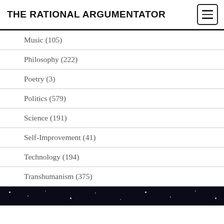THE RATIONAL ARGUMENTATOR
Music (105)
Philosophy (222)
Poetry (3)
Politics (579)
Science (191)
Self-Improvement (41)
Technology (194)
Transhumanism (375)